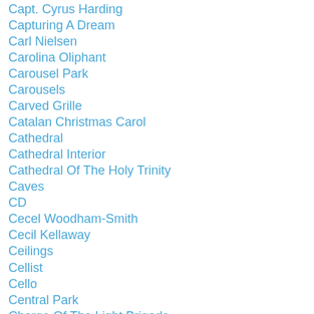Capt. Cyrus Harding
Capturing A Dream
Carl Nielsen
Carolina Oliphant
Carousel Park
Carousels
Carved Grille
Catalan Christmas Carol
Cathedral
Cathedral Interior
Cathedral Of The Holy Trinity
Caves
CD
Cecel Woodham-Smith
Cecil Kellaway
Ceilings
Cellist
Cello
Central Park
Charge Of The Light Brigade
Chariots